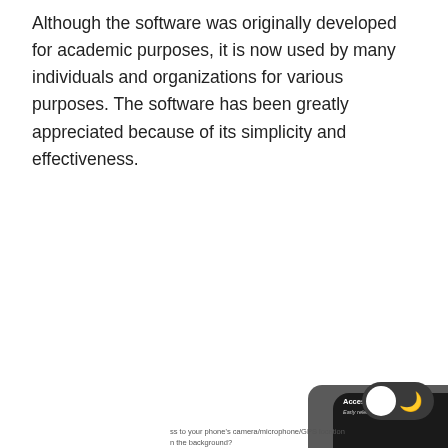Although the software was originally developed for academic purposes, it is now used by many individuals and organizations for various purposes. The software has been greatly appreciated because of its simplicity and effectiveness.
[Figure (screenshot): Screenshot of the Access Dots Android app showing a phone screen with the app interface, including status bar with 'Access Dots' label and a white dot indicator. Below the phone screen is overlaid text 'Android 12 / iOS 14 privacy indicators for Android 7.0+'. The bottom portion shows three phone panels side by side — a microphone icon panel, a dark camera icon panel, and a colored panel showing the number 18002021234 with red, dark, and green vertical bars. A dark mode toggle button appears at bottom right.]
ss to your phone's camera/microphone/GPS location n the background?